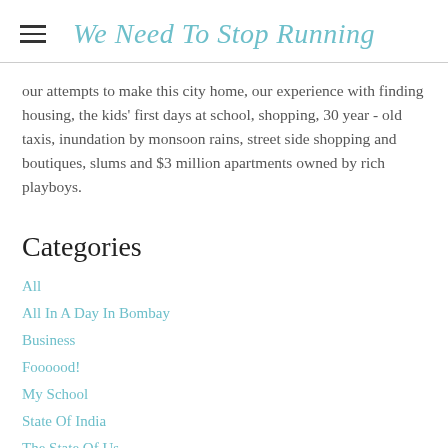We Need To Stop Running
our attempts to make this city home, our experience with finding housing, the kids' first days at school, shopping, 30 year - old taxis, inundation by monsoon rains, street side shopping and boutiques, slums and $3 million apartments owned by rich playboys.
Categories
All
All In A Day In Bombay
Business
Foooood!
My School
State Of India
The State Of Us.